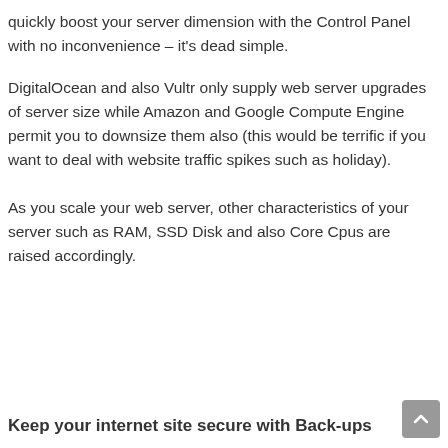quickly boost your server dimension with the Control Panel with no inconvenience – it's dead simple.
DigitalOcean and also Vultr only supply web server upgrades of server size while Amazon and Google Compute Engine permit you to downsize them also (this would be terrific if you want to deal with website traffic spikes such as holiday).
As you scale your web server, other characteristics of your server such as RAM, SSD Disk and also Core Cpus are raised accordingly.
Keep your internet site secure with Back-ups